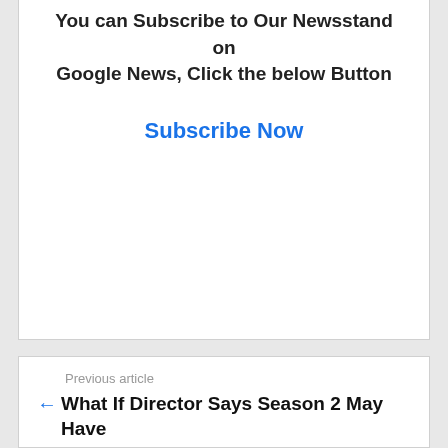You can Subscribe to Our Newsstand on Google News, Click the below Button
Subscribe Now
Previous article
← What If Director Says Season 2 May Have